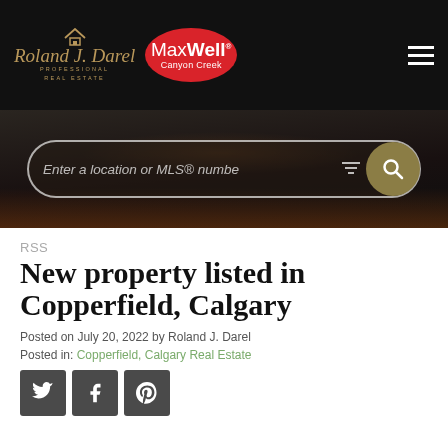Roland J. Darel Professional Real Estate — MaxWell Canyon Creek
[Figure (screenshot): Search bar over dark city night skyline background with text: Enter a location or MLS® number]
RSS
New property listed in Copperfield, Calgary
Posted on July 20, 2022 by Roland J. Darel
Posted in: Copperfield, Calgary Real Estate
[Figure (infographic): Social share buttons: Twitter, Facebook, Pinterest]